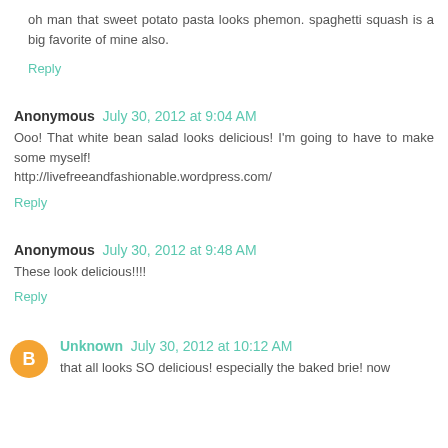oh man that sweet potato pasta looks phemon. spaghetti squash is a big favorite of mine also.
Reply
Anonymous July 30, 2012 at 9:04 AM
Ooo! That white bean salad looks delicious! I'm going to have to make some myself! http://livefreeandfashionable.wordpress.com/
Reply
Anonymous July 30, 2012 at 9:48 AM
These look delicious!!!!
Reply
Unknown July 30, 2012 at 10:12 AM
that all looks SO delicious! especially the baked brie! now